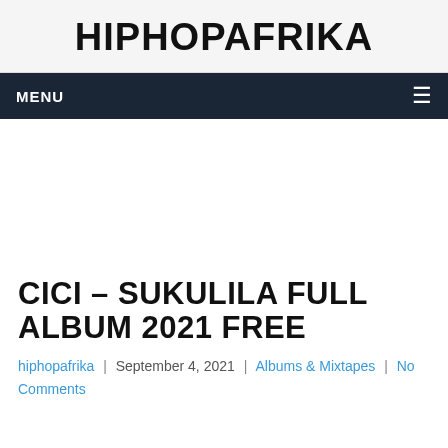HIPHOPAFRIKA
MENU
CICI – SUKULILA FULL ALBUM 2021 FREE
hiphopafrika | September 4, 2021 | Albums & Mixtapes | No Comments